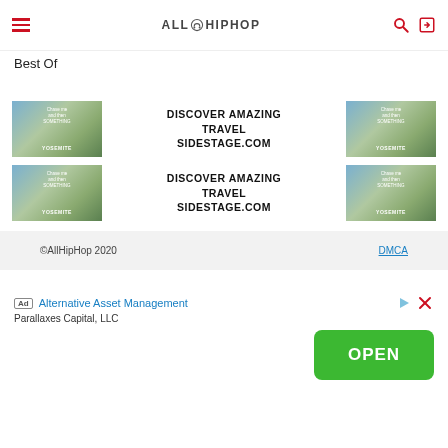AllHipHop
Best Of
[Figure (screenshot): Advertisement banner: Yosemite travel image on left, 'DISCOVER AMAZING TRAVEL SIDESTAGE.COM' text in center, Yosemite travel image on right]
[Figure (screenshot): Advertisement banner: Yosemite travel image on left, 'DISCOVER AMAZING TRAVEL SIDESTAGE.COM' text in center, Yosemite travel image on right]
©AllHipHop 2020 DMCA
[Figure (infographic): Ad unit: Alternative Asset Management by Parallaxes Capital, LLC with OPEN button]